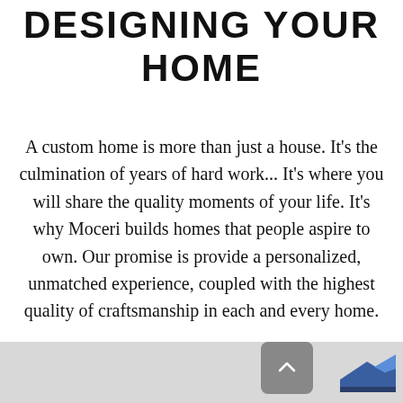DESIGNING YOUR HOME
A custom home is more than just a house. It's the culmination of years of hard work... It's where you will share the quality moments of your life. It's why Moceri builds homes that people aspire to own. Our promise is provide a personalized, unmatched experience, coupled with the highest quality of craftsmanship in each and every home.